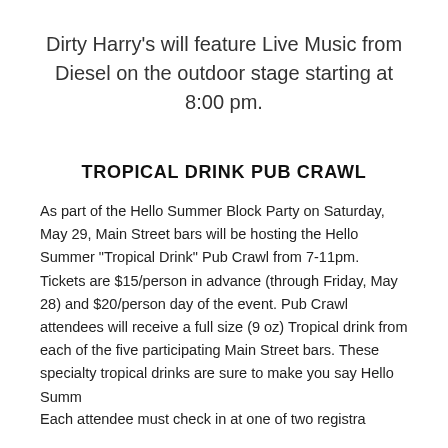Dirty Harry's will feature Live Music from Diesel on the outdoor stage starting at 8:00 pm.
TROPICAL DRINK PUB CRAWL
As part of the Hello Summer Block Party on Saturday, May 29, Main Street bars will be hosting the Hello Summer "Tropical Drink" Pub Crawl from 7-11pm. Tickets are $15/person in advance (through Friday, May 28) and $20/person day of the event. Pub Crawl attendees will receive a full size (9 oz) Tropical drink from each of the five participating Main Street bars. These specialty tropical drinks are sure to make you say Hello Summer!
Each attendee must check in at one of two registration tents (one at Hollywood and Main Street and one in the